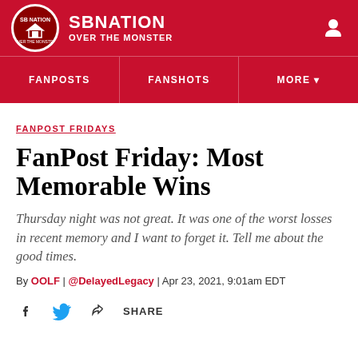[Figure (logo): SB Nation logo circle with house icon]
SBNATION / OVER THE MONSTER
FANPOSTS | FANSHOTS | MORE
FANPOST FRIDAYS
FanPost Friday: Most Memorable Wins
Thursday night was not great. It was one of the worst losses in recent memory and I want to forget it. Tell me about the good times.
By OOLF | @DelayedLegacy | Apr 23, 2021, 9:01am EDT